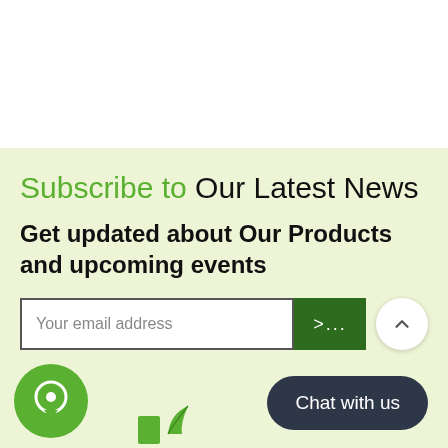Subscribe to Our Latest News
Get updated about Our Products and upcoming events
Your email address
[Figure (illustration): Green circular chat/messenger icon at bottom left]
[Figure (logo): Small green leaf logo icon]
Chat with us